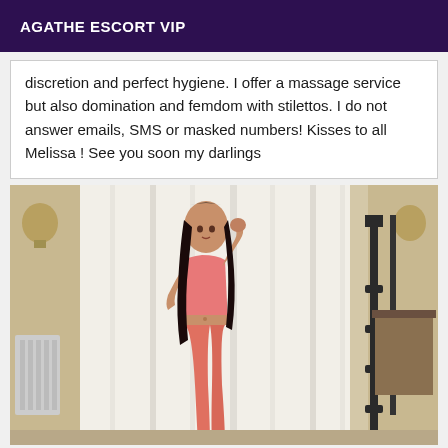AGATHE ESCORT VIP
discretion and perfect hygiene. I offer a massage service but also domination and femdom with stilettos. I do not answer emails, SMS or masked numbers! Kisses to all Melissa ! See you soon my darlings
[Figure (photo): Young woman with long dark hair wearing a pink crop top and salmon/coral colored pants, standing in a room with white curtains and a dark metal bedframe visible on the right.]